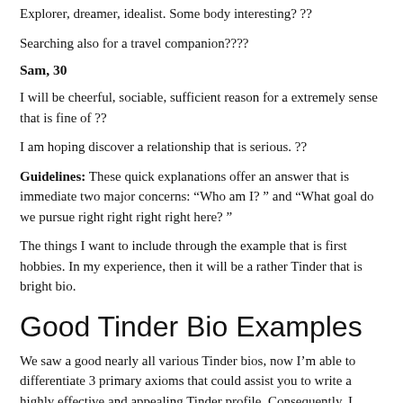Explorer, dreamer, idealist. Some body interesting? ??
Searching also for a travel companion????
Sam, 30
I will be cheerful, sociable, sufficient reason for a extremely sense that is fine of ??
I am hoping discover a relationship that is serious. ??
Guidelines: These quick explanations offer an answer that is immediate two major concerns: “Who am I? ” and “What goal do we pursue right right right right here? ”
The things I want to include through the example that is first hobbies. In my experience, then it will be a rather Tinder that is bright bio.
Good Tinder Bio Examples
We saw a good nearly all various Tinder bios, now I’m able to differentiate 3 primary axioms that could assist you to write a highly effective and appealing Tinder profile. Consequently, I would like to ask just three concerns that will help you sketch out a good tinder